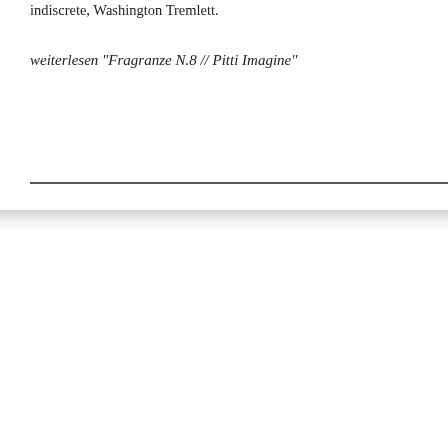indiscrete, Washington Tremlett.
weiterlesen "Fragranze N.8 // Pitti Imagine"
new posts
new comments
• Middle East Peace // The 7 Virtues • The Green Carnation // Friendly Fur • By Kilian Store // New York • Happy Holidays • Edouard Roschi // Le Labo • Le Vaporisateur tout noir // Serge Lutens • The Odd Fellow's Bouquet // Atkinsons • Roses de Chloé // Chloé • Top 10 Late Summer Scents 2013 • Rose Velours // Van Cleef & Arpels
• 𝑖𝑖 in Q & A Tanja Bochnig by Labo Boutique // Paris… East Peace // The 7 Virt… Top 10 Summer Scents 2… Middle East Peace // Th… Feuilles de Tabac // Mil… … in Frau Tonis Parfum… in Q & A Tanja Bochnig… in Q & A Tanja Bochnig… Tanja Bochnig by Yosh…